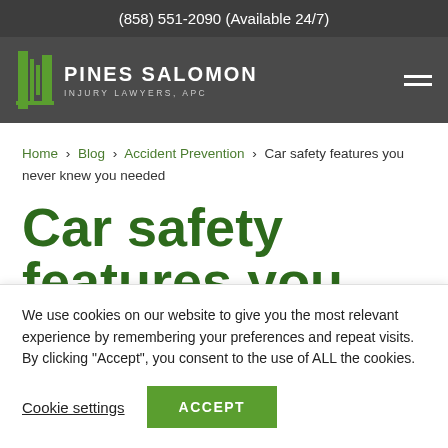(858) 551-2090 (Available 24/7)
[Figure (logo): Pines Salomon Injury Lawyers, APC logo with green pillar icon and white text on dark grey background, with hamburger menu icon on right]
Home > Blog > Accident Prevention > Car safety features you never knew you needed
Car safety features you never knew you needed
We use cookies on our website to give you the most relevant experience by remembering your preferences and repeat visits. By clicking “Accept”, you consent to the use of ALL the cookies.
Cookie settings   ACCEPT